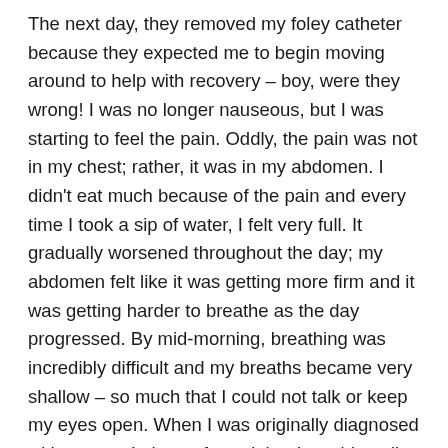The next day, they removed my foley catheter because they expected me to begin moving around to help with recovery – boy, were they wrong! I was no longer nauseous, but I was starting to feel the pain. Oddly, the pain was not in my chest; rather, it was in my abdomen. I didn't eat much because of the pain and every time I took a sip of water, I felt very full. It gradually worsened throughout the day; my abdomen felt like it was getting more firm and it was getting harder to breathe as the day progressed. By mid-morning, breathing was incredibly difficult and my breaths became very shallow – so much that I could not talk or keep my eyes open. When I was originally diagnosed with cancer, I always feared that I would not live as long as my peers and that night, I felt that I was pushed to the limits and death or serious complications were about to occur. Over time the doctors grew more and more concerned and thought that it was strange that my pain level was